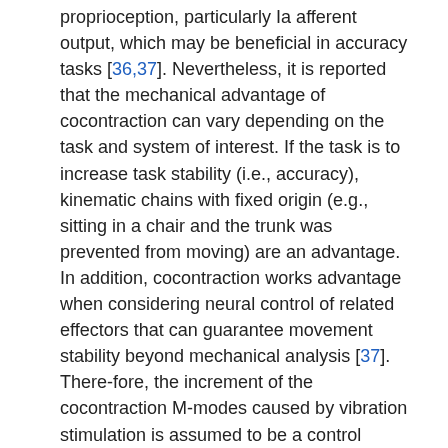proprioception, particularly Ia afferent output, which may be beneficial in accuracy tasks [36,37]. Nevertheless, it is reported that the mechanical advantage of cocontraction can vary depending on the task and system of interest. If the task is to increase task stability (i.e., accuracy), kinematic chains with fixed origin (e.g., sitting in a chair and the trunk was prevented from moving) are an advantage. In addition, cocontraction works advantage when considering neural control of related effectors that can guarantee movement stability beyond mechanical analysis [37]. There-fore, the increment of the cocontraction M-modes caused by vibration stimulation is assumed to be a control strategy to enhance the performance accuracy governed by both supraspinal and spinal levels (e.g., tonic vibration reflex) [38].
CONCLUSION
In conclusion, the results of the current study suggest that neurophysiological changes due to vibration stimulation can be positively influenced by task characteristics and force levels, which require the accuracy of torque generation. It will provide the basis for some quantitative understanding of the accuracy of exercise goals and the